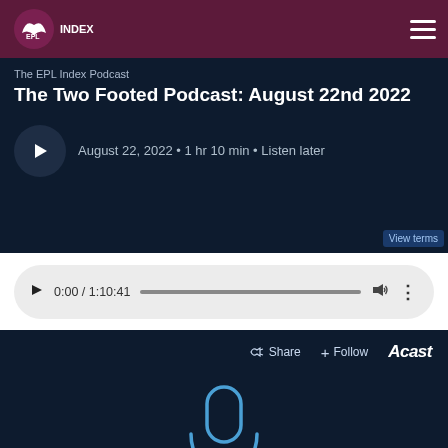EPL Index
The EPL Index Podcast
The Two Footed Podcast: August 22nd 2022
August 22, 2022 • 1 hr 10 min • Listen later
View terms
0:00 / 1:10:41
Share   Follow   Acast
[Figure (other): Microphone icon in blue outline on dark navy background, representing Acast podcast player]